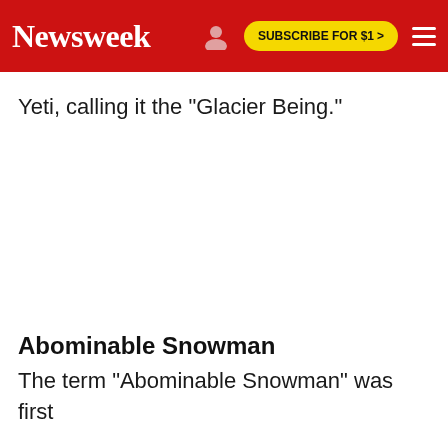Newsweek | SUBSCRIBE FOR $1 >
Yeti, calling it the "Glacier Being."
Abominable Snowman
The term "Abominable Snowman" was first